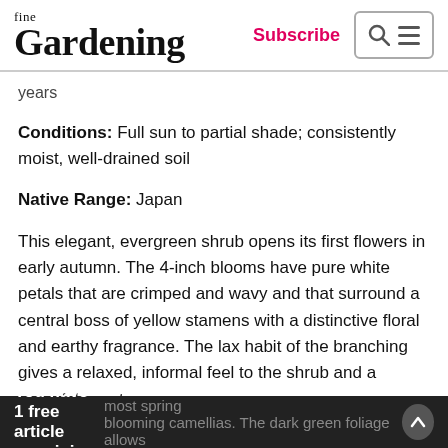fine Gardening | Subscribe
years
Conditions: Full sun to partial shade; consistently moist, well-drained soil
Native Range: Japan
This elegant, evergreen shrub opens its first flowers in early autumn. The 4-inch blooms have pure white petals that are crimped and wavy and that surround a central boss of yellow stamens with a distinctive floral and earthy fragrance. The lax habit of the branching gives a relaxed, informal feel to the shrub and a gracefulness to most spring blooming camellias. The dark green foliage allows
You have 1 free article remaining.